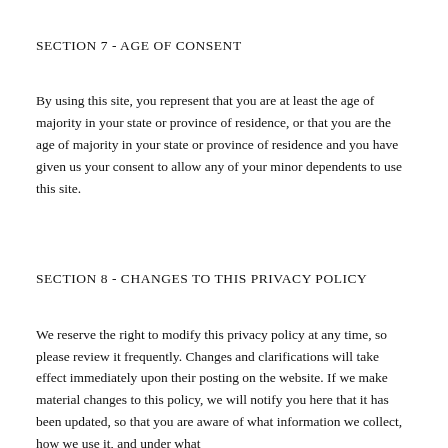SECTION 7 - AGE OF CONSENT
By using this site, you represent that you are at least the age of majority in your state or province of residence, or that you are the age of majority in your state or province of residence and you have given us your consent to allow any of your minor dependents to use this site.
SECTION 8 - CHANGES TO THIS PRIVACY POLICY
We reserve the right to modify this privacy policy at any time, so please review it frequently. Changes and clarifications will take effect immediately upon their posting on the website. If we make material changes to this policy, we will notify you here that it has been updated, so that you are aware of what information we collect, how we use it, and under what circumstances, if any, we use and/or disclose it.